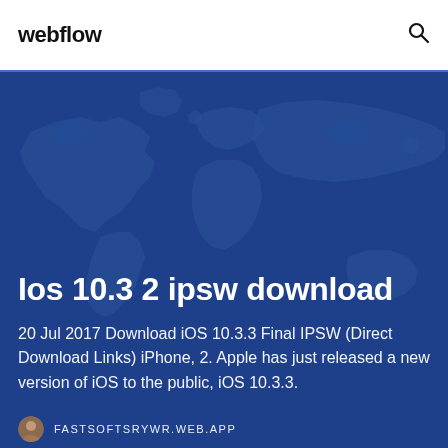webflow
Ios 10.3 2 ipsw download
20 Jul 2017 Download iOS 10.3.3 Final IPSW (Direct Download Links) iPhone, 2. Apple has just released a new version of iOS to the public, iOS 10.3.3.
FASTSOFTSRYWR.WEB.APP